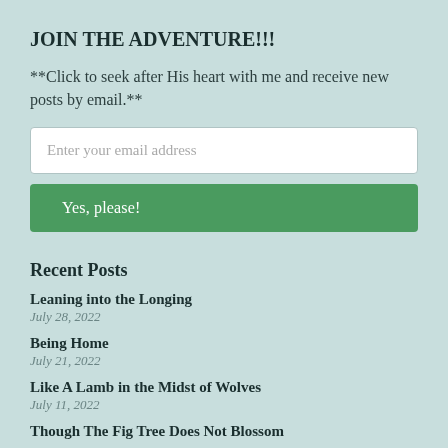JOIN THE ADVENTURE!!!
**Click to seek after His heart with me and receive new posts by email.**
Enter your email address
Yes, please!
Recent Posts
Leaning into the Longing
July 28, 2022
Being Home
July 21, 2022
Like A Lamb in the Midst of Wolves
July 11, 2022
Though The Fig Tree Does Not Blossom